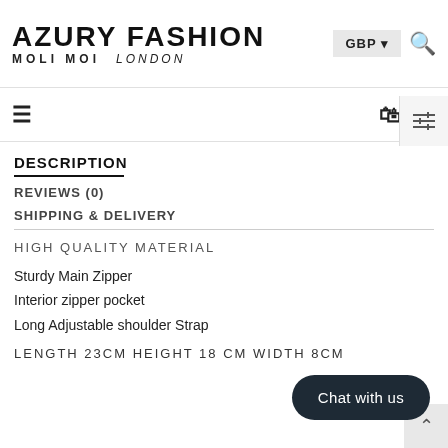AZURY FASHION MOLI MOI london
DESCRIPTION
REVIEWS (0)
SHIPPING & DELIVERY
HIGH QUALITY MATERIAL
Sturdy Main Zipper
Interior zipper pocket
Long Adjustable shoulder Strap
LENGTH 23cm HEIGHT 18 cm WIDTH 8cm